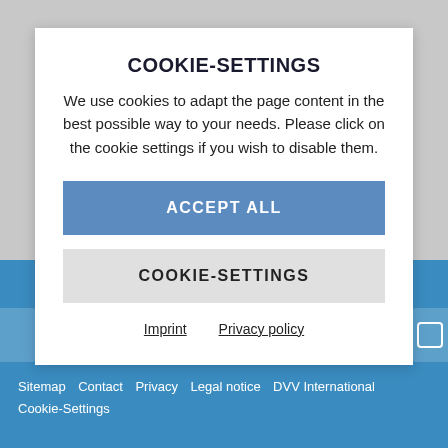COOKIE-SETTINGS
We use cookies to adapt the page content in the best possible way to your needs. Please click on the cookie settings if you wish to disable them.
ACCEPT ALL
COOKIE-SETTINGS
Imprint   Privacy policy
Sitemap  Contact  Privacy  Legal notice  DVV International  Cookie-Settings